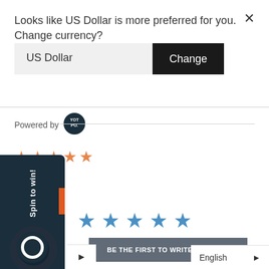Looks like US Dollar is more preferred for you. Change currency?
US Dollar
Change
Powered by
[Figure (logo): YotPo circular dark logo]
[Figure (infographic): Five empty orange star rating icons]
[Figure (infographic): Five filled blue star rating icons]
BE THE FIRST TO WRITE A REVIEW
Spin to win!
English